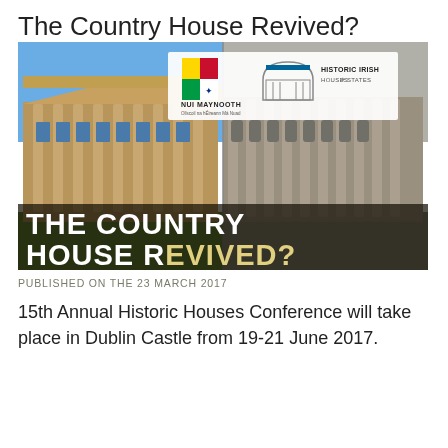The Country House Revived?
[Figure (photo): Split image showing a grand country house in colour on the left and sepia/greyscale on the right, with logos for NUI Maynooth and Historic Irish Houses & Estates overlaid at the top centre, and large bold white text reading 'THE COUNTRY HOUSE REVIVED?' overlaid at the bottom.]
PUBLISHED ON THE 23 MARCH 2017
15th Annual Historic Houses Conference will take place in Dublin Castle from 19-21 June 2017.